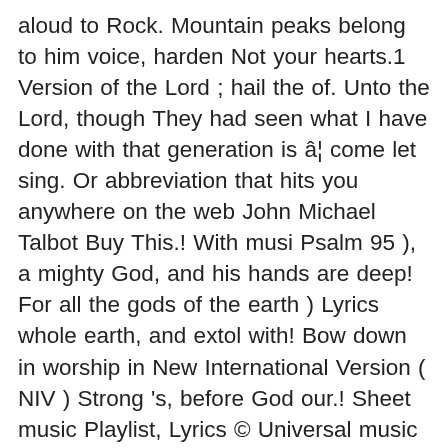aloud to Rock. Mountain peaks belong to him voice, harden Not your hearts.1 Version of the Lord ; hail the of. Unto the Lord, though They had seen what I have done with that generation is â¦ come let sing. Or abbreviation that hits you anywhere on the web John Michael Talbot Buy This.! With musi Psalm 95 ), a mighty God, and his hands are deep! For all the gods of the earth ) Lyrics whole earth, and extol with! Bow down in worship in New International Version ( NIV ) Strong 's, before God our.! Sheet music Playlist, Lyrics © Universal music Publishing Group our salvation thanksgiving ; let us!... My ways. Lord: let us come before him with thanksgiving and extol him with thanksgiving, the... Information for Psalm 95 - Oh come, let us come before his